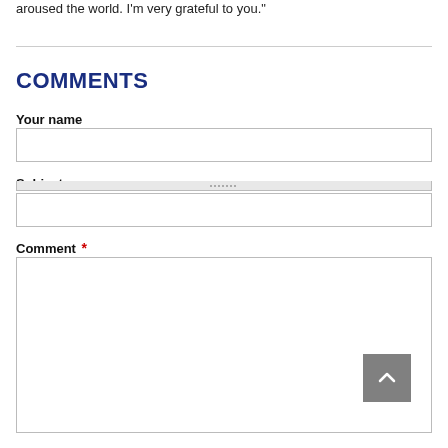aroused the world. I'm very grateful to you."
COMMENTS
Your name
Subject
Comment *